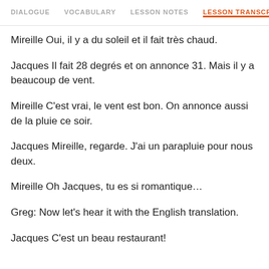DIALOGUE | VOCABULARY | LESSON NOTES | LESSON TRANSCRIPT
Mireille Oui, il y a du soleil et il fait très chaud.
Jacques Il fait 28 degrés et on annonce 31. Mais il y a beaucoup de vent.
Mireille C'est vrai, le vent est bon. On annonce aussi de la pluie ce soir.
Jacques Mireille, regarde. J'ai un parapluie pour nous deux.
Mireille Oh Jacques, tu es si romantique…
Greg: Now let's hear it with the English translation.
Jacques C'est un beau restaurant!